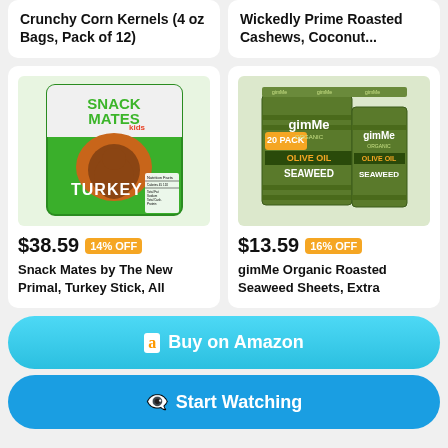Crunchy Corn Kernels (4 oz Bags, Pack of 12)
Wickedly Prime Roasted Cashews, Coconut...
[Figure (photo): Snack Mates by The New Primal Turkey Stick product package — green bag with cartoon turkey illustration]
$38.59  14% OFF
Snack Mates by The New Primal, Turkey Stick, All
[Figure (photo): gimMe Organic Roasted Seaweed Sheets Extra Virgin Olive Oil 20-pack product packages]
$13.59  16% OFF
gimMe Organic Roasted Seaweed Sheets, Extra
Buy on Amazon
Start Watching